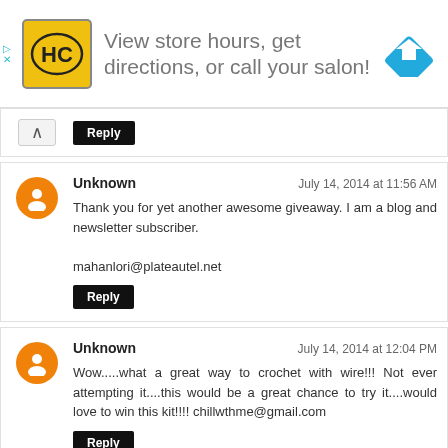[Figure (infographic): Advertisement banner: HC logo in yellow square, text 'View store hours, get directions, or call your salon!', blue diamond navigation icon on right]
Reply
Unknown
July 14, 2014 at 11:56 AM
Thank you for yet another awesome giveaway. I am a blog and newsletter subscriber.
mahanlori@plateautel.net
Reply
Unknown
July 14, 2014 at 12:04 PM
Wow.....what a great way to crochet with wire!!! Not ever attempting it....this would be a great chance to try it....would love to win this kit!!!! chillwthme@gmail.com
Reply